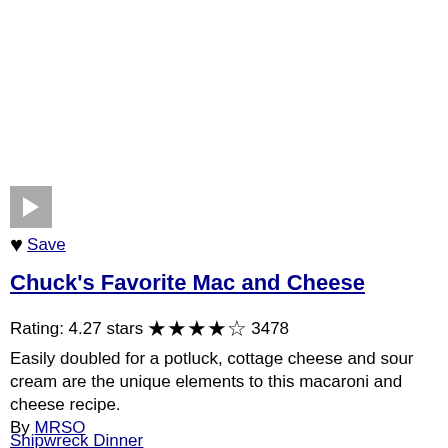[Figure (other): Video thumbnail with play button (grey square with white triangle)]
♥ Save
Chuck's Favorite Mac and Cheese
Rating: 4.27 stars ★★★★☆ 3478
Easily doubled for a potluck, cottage cheese and sour cream are the unique elements to this macaroni and cheese recipe.
By MRSO
Shipwreck Dinner